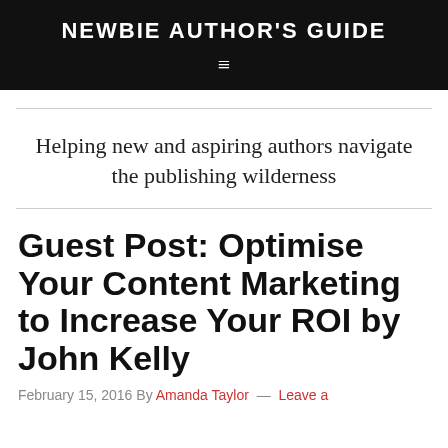NEWBIE AUTHOR'S GUIDE
Helping new and aspiring authors navigate the publishing wilderness
Guest Post: Optimise Your Content Marketing to Increase Your ROI by John Kelly
February 15, 2016 By Amanda Taylor — Leave a